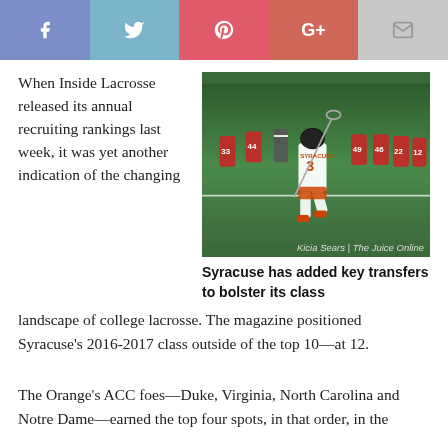[Figure (other): Social media sharing bar with Facebook (blue-purple), Twitter (light blue), Pinterest (red-pink), Google+ (red-orange), and Email (light gray) buttons]
When Inside Lacrosse released its annual recruiting rankings last week, it was yet another indication of the changing landscape of college lacrosse. The magazine positioned Syracuse's 2016-2017 class outside of the top 10—at 12.
[Figure (photo): Syracuse lacrosse player wearing #3 jersey running on field with lacrosse stick, teammates in background wearing red and white uniforms with numbers 33, 44, 49, 46, 22, 12. Photo credit: Kicia Sears | The Juice Online]
Syracuse has added key transfers to bolster its class
The Orange's ACC foes—Duke, Virginia, North Carolina and Notre Dame—earned the top four spots, in that order, in the